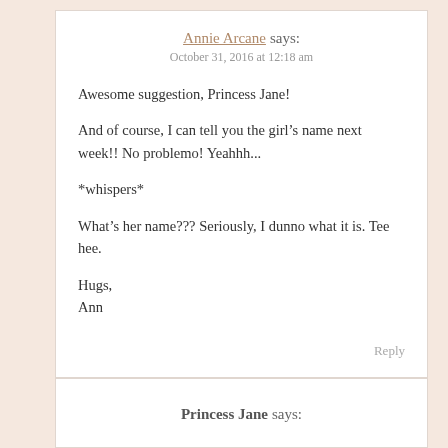Annie Arcane says:
October 31, 2016 at 12:18 am
Awesome suggestion, Princess Jane!
And of course, I can tell you the girl’s name next week!! No problemo! Yeahhh...
*whispers*
What’s her name??? Seriously, I dunno what it is. Tee hee.
Hugs,
Ann
Reply
Princess Jane says: